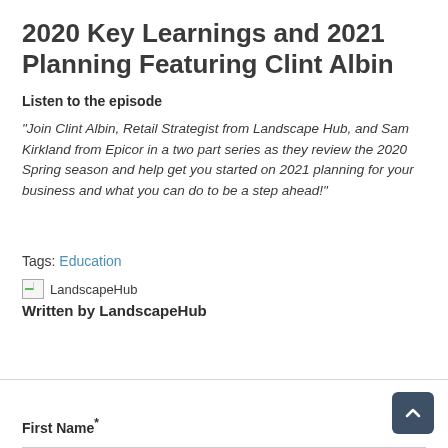2020 Key Learnings and 2021 Planning Featuring Clint Albin
Listen to the episode
"Join Clint Albin, Retail Strategist from Landscape Hub, and Sam Kirkland from Epicor in a two part series as they review the 2020 Spring season and help get you started on 2021 planning for your business and what you can do to be a step ahead!"
Tags: Education
[Figure (logo): LandscapeHub logo placeholder image]
Written by LandscapeHub
First Name*